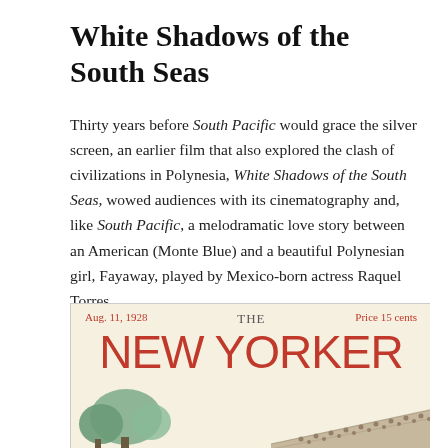White Shadows of the South Seas
Thirty years before South Pacific would grace the silver screen, an earlier film that also explored the clash of civilizations in Polynesia, White Shadows of the South Seas, wowed audiences with its cinematography and, like South Pacific, a melodramatic love story between an American (Monte Blue) and a beautiful Polynesian girl, Fayaway, played by Mexico-born actress Raquel Torres.
[Figure (illustration): Cover of The New Yorker magazine, Aug. 11, 1928, Price 15 cents, showing the masthead in large red letters with illustrated trees and a crowd scene below]